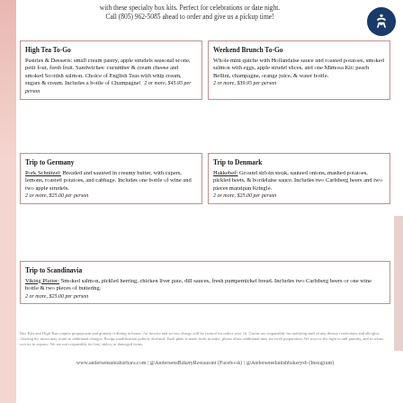with these specialty box kits. Perfect for celebrations or date night. Call (805) 962-5085 ahead to order and give us a pickup time!
High Tea To-Go
Pastries & Desserts: small cream pastry, apple strudels seasonal scone, petit four, fresh fruit. Sandwiches: cucumber & cream cheese and smoked Scottish salmon. Choice of English Teas with whip cream, sugars & cream. Includes a bottle of Champagne!  2 or more, $45.95 per person
Weekend Brunch To-Go
Whole mini quiche with Hollandaise sauce and roasted potatoes, smoked salmon with eggs, apple strudel slices, and one Mimosa Kit: peach Bellini, champagne, orange juice, & water bottle.
2 or more, $39.95 per person
Trip to Germany
Pork Schnitzel: Breaded and sautéed in creamy butter, with capers, lemons, roasted potatoes, and cabbage. Includes one bottle of wine and two apple strudels.
2 or more, $25.00 per person
Trip to Denmark
Hakkebøf: Ground sirloin steak, sauteed onions, mashed potatoes, pickled beets, & bordelaise sauce. Includes two Carlsberg beers and two pieces marzipan Kringle.
2 or more, $25.00 per person
Trip to Scandinavia
Viking Platter: Smoked salmon, pickled herring, chicken liver pate, dill sauces, fresh pumpernickel bread. Includes two Carlsberg beers or one wine bottle & two pieces of buttering.
2 or more, $25.00 per person
Box Kits and High Teas require prepayment and gratuity if dining in house. An invoice and service charge will be created for orders over 10. Guests are responsible for notifying staff of any dietary restrictions and allergies. Altering the menu may result in additional charges. Recipe modification politely declined. Each plate is made fresh to order, please allow additional time for fresh preparation. We reserve the right to add gratuity, and to refuse service to anyone. We are not responsible for lost, stolen, or damaged items.
www.andersensantabarbara.com | @AndersensBakeryRestaurant (Facebook) | @Andersensdanishbakerysb (Instagram)